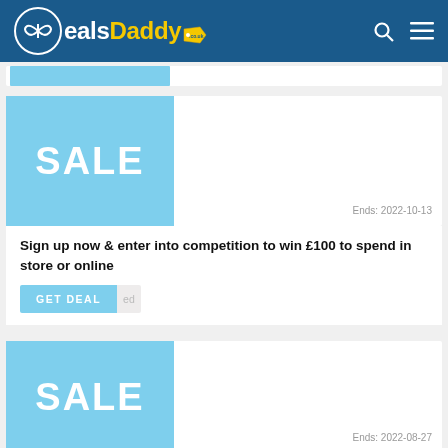DealsDaddy
[Figure (illustration): SALE banner image with light blue background and white bold SALE text]
Ends: 2022-10-13
Sign up now & enter into competition to win £100 to spend in store or online
GET DEAL ed
[Figure (illustration): SALE banner image with light blue background and white bold SALE text]
Ends: 2022-08-27